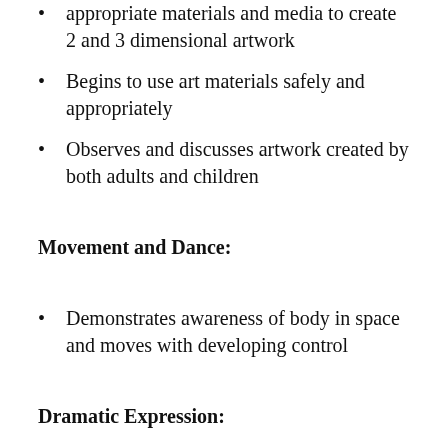appropriate materials and media to create 2 and 3 dimensional artwork
Begins to use art materials safely and appropriately
Observes and discusses artwork created by both adults and children
Movement and Dance:
Demonstrates awareness of body in space and moves with developing control
Dramatic Expression:
Begins to use objects for other than their intended purpose during play